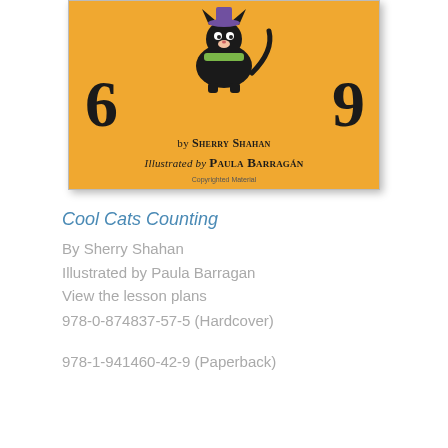[Figure (illustration): Book cover of 'Cool Cats Counting' with orange/yellow background, numbers 6 and 9, a cat illustration, text 'by Sherry Shahan' and 'Illustrated by Paula Barragán', with 'Copyrighted Material' note]
Cool Cats Counting
By Sherry Shahan
Illustrated by Paula Barragan
View the lesson plans
978-0-874837-57-5 (Hardcover)
978-1-941460-42-9 (Paperback)